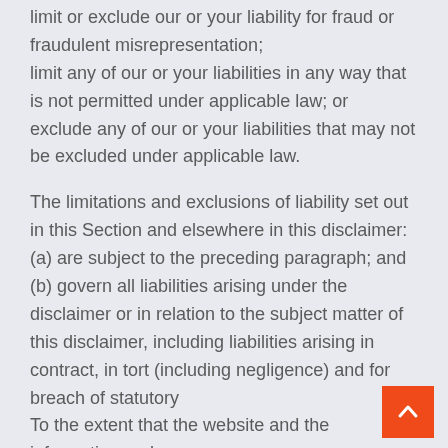limit or exclude our or your liability for fraud or fraudulent misrepresentation;
limit any of our or your liabilities in any way that is not permitted under applicable law; or
exclude any of our or your liabilities that may not be excluded under applicable law.
The limitations and exclusions of liability set out in this Section and elsewhere in this disclaimer: (a) are subject to the preceding paragraph; and (b) govern all liabilities arising under the disclaimer or in relation to the subject matter of this disclaimer, including liabilities arising in contract, in tort (including negligence) and for breach of statutory
To the extent that the website and the information and